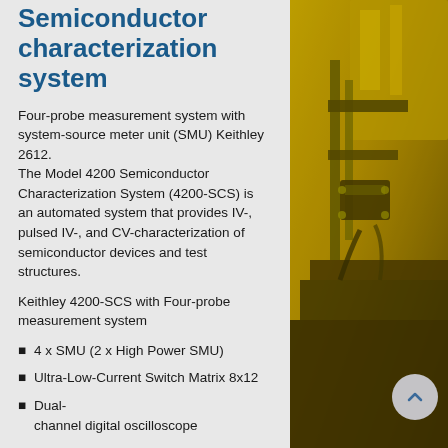Semiconductor characterization system
Four-probe measurement system with system-source meter unit (SMU) Keithley 2612.
The Model 4200 Semiconductor Characterization System (4200-SCS) is an automated system that provides IV-, pulsed IV-, and CV-characterization of semiconductor devices and test structures.
Keithley 4200-SCS with Four-probe measurement system
4 x SMU (2 x High Power SMU)
Ultra-Low-Current Switch Matrix 8x12
Dual-channel digital oscilloscope
[Figure (photo): Laboratory photo of semiconductor characterization equipment under yellow light, showing a four-probe measurement station with mechanical components and cables.]